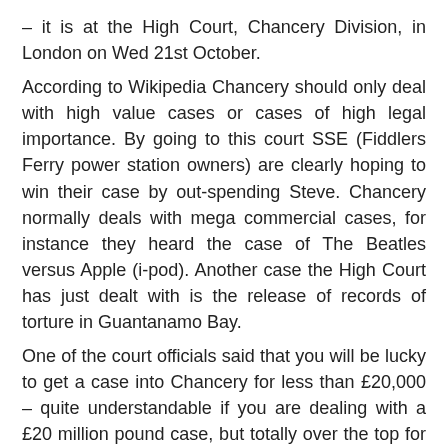– it is at the High Court, Chancery Division, in London on Wed 21st October.
According to Wikipedia Chancery should only deal with high value cases or cases of high legal importance. By going to this court SSE (Fiddlers Ferry power station owners) are clearly hoping to win their case by out-spending Steve. Chancery normally deals with mega commercial cases, for instance they heard the case of The Beatles versus Apple (i-pod). Another case the High Court has just dealt with is the release of records of torture in Guantanamo Bay.
One of the court officials said that you will be lucky to get a case into Chancery for less than £20,000 – quite understandable if you are dealing with a £20 million pound case, but totally over the top for a case where a company is irritated by a sacked trade unionist sticking some banners on their fence.
They were hoping to get their injunction 'without notice' – that is without Steve knowing about it, and that is why they make allegations about a threat to the generation of